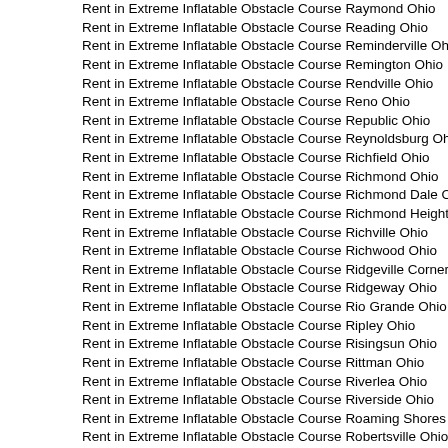Rent in Extreme Inflatable Obstacle Course Raymond Ohio
Rent in Extreme Inflatable Obstacle Course Reading Ohio
Rent in Extreme Inflatable Obstacle Course Reminderville Ohio
Rent in Extreme Inflatable Obstacle Course Remington Ohio
Rent in Extreme Inflatable Obstacle Course Rendville Ohio
Rent in Extreme Inflatable Obstacle Course Reno Ohio
Rent in Extreme Inflatable Obstacle Course Republic Ohio
Rent in Extreme Inflatable Obstacle Course Reynoldsburg Ohio
Rent in Extreme Inflatable Obstacle Course Richfield Ohio
Rent in Extreme Inflatable Obstacle Course Richmond Ohio
Rent in Extreme Inflatable Obstacle Course Richmond Dale Ohio
Rent in Extreme Inflatable Obstacle Course Richmond Heights Oh
Rent in Extreme Inflatable Obstacle Course Richville Ohio
Rent in Extreme Inflatable Obstacle Course Richwood Ohio
Rent in Extreme Inflatable Obstacle Course Ridgeville Corners Oh
Rent in Extreme Inflatable Obstacle Course Ridgeway Ohio
Rent in Extreme Inflatable Obstacle Course Rio Grande Ohio
Rent in Extreme Inflatable Obstacle Course Ripley Ohio
Rent in Extreme Inflatable Obstacle Course Risingsun Ohio
Rent in Extreme Inflatable Obstacle Course Rittman Ohio
Rent in Extreme Inflatable Obstacle Course Riverlea Ohio
Rent in Extreme Inflatable Obstacle Course Riverside Ohio
Rent in Extreme Inflatable Obstacle Course Roaming Shores Ohio
Rent in Extreme Inflatable Obstacle Course Robertsville Ohio
Rent in Extreme Inflatable Obstacle Course Rochester Ohio
Rent in Extreme Inflatable Obstacle Course Rock Creek Ohio
Rent in Extreme Inflatable Obstacle Course Rockbridge Ohio